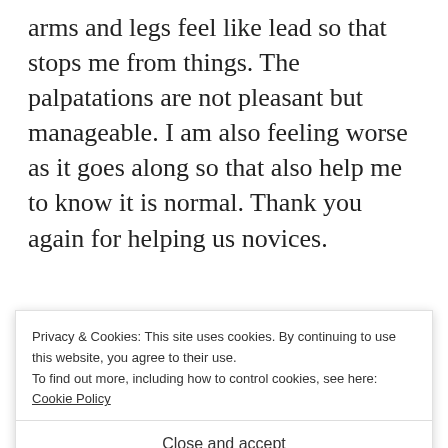arms and legs feel like lead so that stops me from things. The palpatations are not pleasant but manageable. I am also feeling worse as it goes along so that also help me to know it is normal. Thank you again for helping us novices.
REPLY
Denise
Privacy & Cookies: This site uses cookies. By continuing to use this website, you agree to their use.
To find out more, including how to control cookies, see here: Cookie Policy
Close and accept